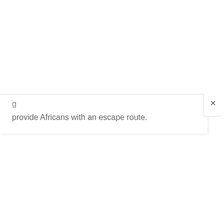provide Africans with an escape route.